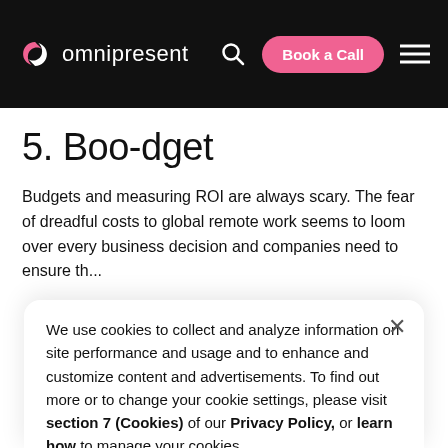omnipresent | Book a Call
5. Boo-dget
Budgets and measuring ROI are always scary. The fear of dreadful costs to global remote work seems to loom over every business decision and companies need to ensure th...
We use cookies to collect and analyze information on site performance and usage and to enhance and customize content and advertisements. To find out more or to change your cookie settings, please visit section 7 (Cookies) of our Privacy Policy, or learn how to manage your cookies.
Accept